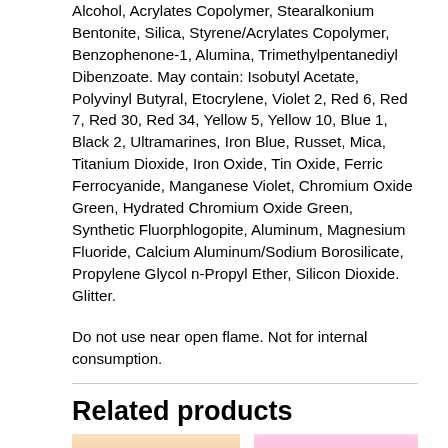Alcohol, Acrylates Copolymer, Stearalkonium Bentonite, Silica, Styrene/Acrylates Copolymer, Benzophenone-1, Alumina, Trimethylpentanediyl Dibenzoate. May contain: Isobutyl Acetate, Polyvinyl Butyral, Etocrylene, Violet 2, Red 6, Red 7, Red 30, Red 34, Yellow 5, Yellow 10, Blue 1, Black 2, Ultramarines, Iron Blue, Russet, Mica, Titanium Dioxide, Iron Oxide, Tin Oxide, Ferric Ferrocyanide, Manganese Violet, Chromium Oxide Green, Hydrated Chromium Oxide Green, Synthetic Fluorphlogopite, Aluminum, Magnesium Fluoride, Calcium Aluminum/Sodium Borosilicate, Propylene Glycol n-Propyl Ether, Silicon Dioxide. Glitter.
Do not use near open flame. Not for internal consumption.
Related products
[Figure (photo): Close-up photo of hand with painted nails showing Aurora Orange Cream nail polish, orange/holographic effect]
[Figure (photo): Close-up photo of hand with painted nails showing Aurora Bubble Gum nail polish, pink color]